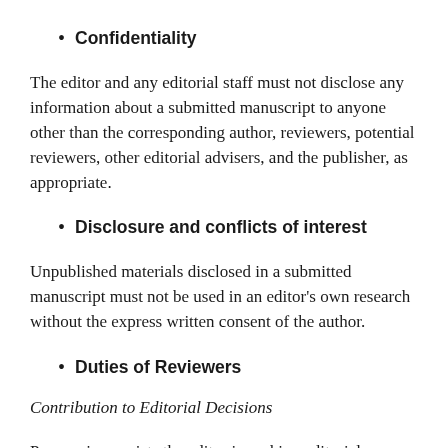Confidentiality
The editor and any editorial staff must not disclose any information about a submitted manuscript to anyone other than the corresponding author, reviewers, potential reviewers, other editorial advisers, and the publisher, as appropriate.
Disclosure and conflicts of interest
Unpublished materials disclosed in a submitted manuscript must not be used in an editor's own research without the express written consent of the author.
Duties of Reviewers
Contribution to Editorial Decisions
Peer review assists the editor in making editorial decisions and through the editorial communications with the author